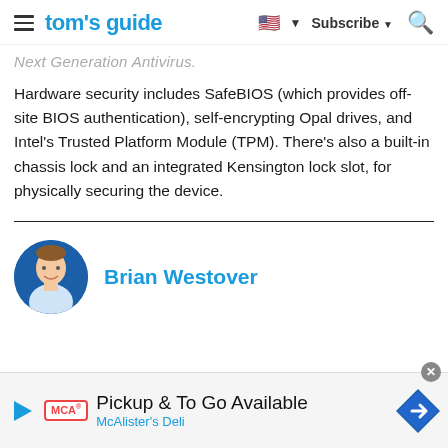tom's guide | Subscribe
Next Generation Antivirus.
Hardware security includes SafeBIOS (which provides off-site BIOS authentication), self-encrypting Opal drives, and Intel's Trusted Platform Module (TPM). There's also a built-in chassis lock and an integrated Kensington lock slot, for physically securing the device.
Brian Westover
[Figure (photo): Circular headshot of Brian Westover on a blue background]
[Figure (infographic): Advertisement banner: Pickup & To Go Available - McAlister's Deli, with MCA logo and navigation arrow icon]